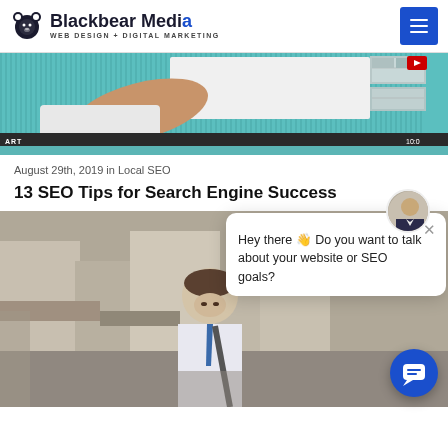Blackbear Media — WEB DESIGN + DIGITAL MARKETING
[Figure (screenshot): A hand touching a board in front of a teal/blue corrugated wall, with thumbnail images top-right, a YouTube play icon, 'ART' label at bottom-left, and '10:0' timestamp at bottom-right.]
August 29th, 2019 in Local SEO
13 SEO Tips for Search Engine Success
[Figure (photo): A young man in a white dress shirt and blue tie walking on a busy street, looking down, with a bag strap over his shoulder. Chat popup overlay visible: avatar of a man in a suit, close button (×), and message 'Hey there 👋 Do you want to talk about your website or SEO goals?']
Hey there 👋 Do you want to talk about your website or SEO goals?